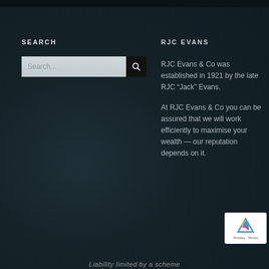SEARCH
[Figure (screenshot): Search input box with magnifying glass button]
RJC EVANS
RJC Evans & Co was established in 1921 by the late RJC “Jack” Evans.
At RJC Evans & Co you can be assured that we will work efficiently to maximise your wealth — our reputation depends on it.
[Figure (logo): reCAPTCHA badge with Privacy and Terms links]
Liability limited by a scheme